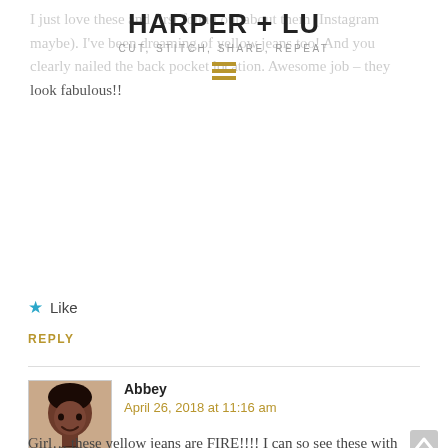I just love these and first found out about them (Instagram maybe). I've been dreaming of yellow jeans too! And you clearly nailed the back pocket location. Awesome job – they look fabulous!!
HARPER + LU
CUT, STITCH, SHARE, REPEAT
★ Like
REPLY
[Figure (photo): Profile photo of commenter Abbey]
Abbey
April 26, 2018 at 11:16 am
Girl… these yellow jeans are FIRE!!!! I can so see these with a light gray pinstripe button down or the chambray shirt… oh the possibilities!